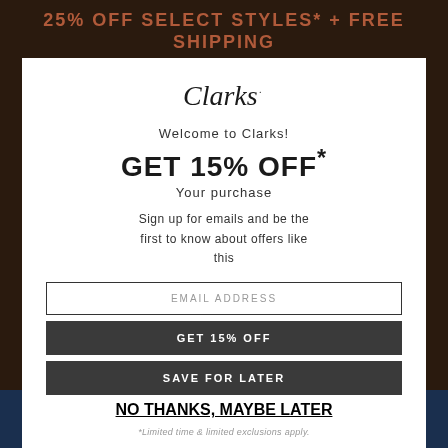25% OFF SELECT STYLES* + FREE SHIPPING
USE CODE: LDW25
[Figure (logo): Clarks brand logo in cursive script]
Welcome to Clarks!
GET 15% OFF*
Your purchase
Sign up for emails and be the first to know about offers like this
EMAIL ADDRESS
GET 15% OFF
SAVE FOR LATER
NO THANKS, MAYBE LATER
*Limited time & limited exclusions apply.
I AGREE